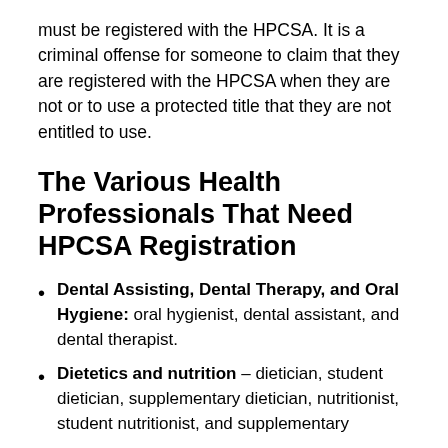must be registered with the HPCSA. It is a criminal offense for someone to claim that they are registered with the HPCSA when they are not or to use a protected title that they are not entitled to use.
The Various Health Professionals That Need HPCSA Registration
Dental Assisting, Dental Therapy, and Oral Hygiene: oral hygienist, dental assistant, and dental therapist.
Dietetics and nutrition – dietician, student dietician, supplementary dietician, nutritionist, student nutritionist, and supplementary